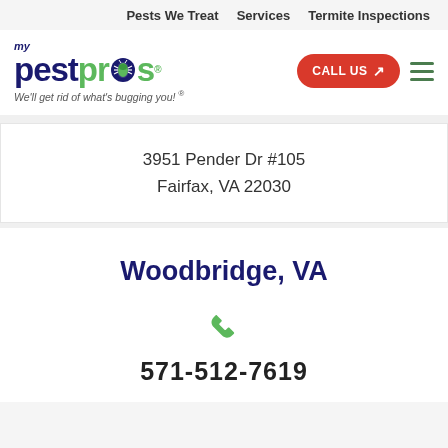Pests We Treat   Services   Termite Inspections
[Figure (logo): My Pest Pros logo with bug icon and tagline 'We'll get rid of what's bugging you!']
3951 Pender Dr #105
Fairfax, VA 22030
Woodbridge, VA
571-512-7619